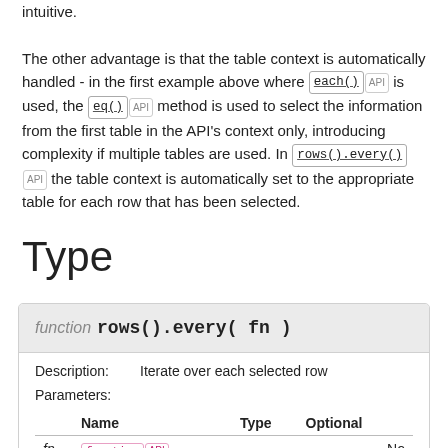intuitive. The other advantage is that the table context is automatically handled - in the first example above where each() API is used, the eq() API method is used to select the information from the first table in the API's context only, introducing complexity if multiple tables are used. In rows().every() API the table context is automatically set to the appropriate table for each row that has been selected.
Type
| Name | Type | Optional |
| --- | --- | --- |